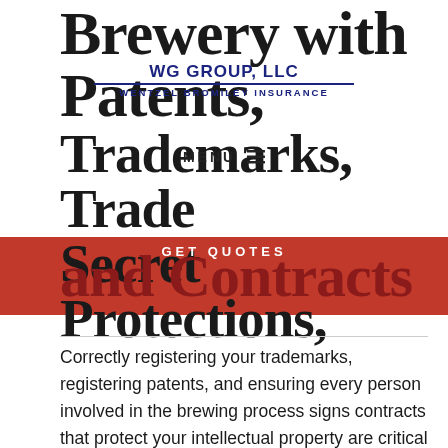Brewery with Patents, Trademarks, Trade Secret Protections, and Contracts
[Figure (logo): WG GROUP, LLC / WENTZEL BROMILEY INSURANCE logo overlay with blue text and underline]
MENU (hamburger icon overlay)
GET QUOTES (button overlay on red bar)
Correctly registering your trademarks, registering patents, and ensuring every person involved in the brewing process signs contracts that protect your intellectual property are critical aspects of doing business. If another person steals your recipe or brewing techniques, the cost of litigation can be